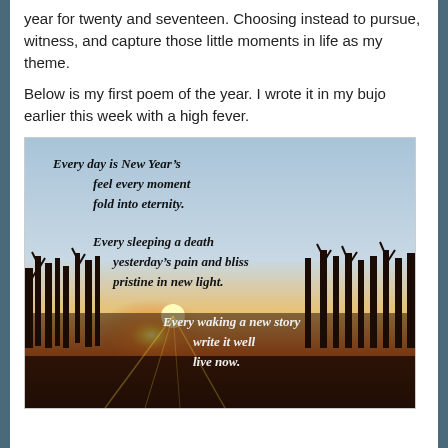year for twenty and seventeen. Choosing instead to pursue, witness, and capture those little moments in life as my theme.
Below is my first poem of the year. I wrote it in my bujo earlier this week with a high fever.
[Figure (photo): Sunset photo with poem text overlay. Three stanzas of italic bold serif text overlaid on a winter sunset image showing bare trees silhouetted against an orange and blue sky with a bright sun on the horizon. Stanza 1 (top left): 'Every day is New Year's / feel every moment / fold into eternity.' Stanza 2 (middle): 'Every sleeping a death / yesterday's pain and bliss / pristine in new light.' Stanza 3 (bottom right): 'Every waking a new story / write it well / live now.']